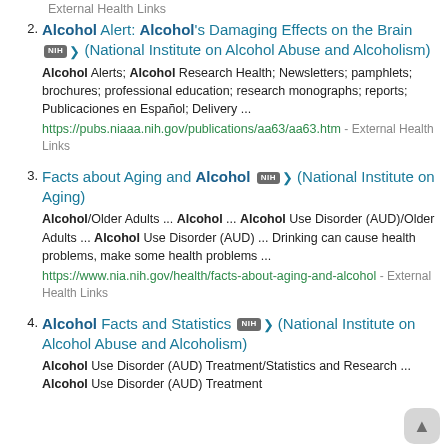External Health Links
Alcohol Alert: Alcohol's Damaging Effects on the Brain NIH (National Institute on Alcohol Abuse and Alcoholism) — Alcohol Alerts; Alcohol Research Health; Newsletters; pamphlets; brochures; professional education; research monographs; reports; Publicaciones en Español; Delivery ... https://pubs.niaaa.nih.gov/publications/aa63/aa63.htm - External Health Links
Facts about Aging and Alcohol NIH (National Institute on Aging) — Alcohol/Older Adults ... Alcohol ... Alcohol Use Disorder (AUD)/Older Adults ... Alcohol Use Disorder (AUD) ... Drinking can cause health problems, make some health problems ... https://www.nia.nih.gov/health/facts-about-aging-and-alcohol - External Health Links
Alcohol Facts and Statistics NIH (National Institute on Alcohol Abuse and Alcoholism) — Alcohol Use Disorder (AUD) Treatment/Statistics and Research ... Alcohol Use Disorder (AUD) Treatment